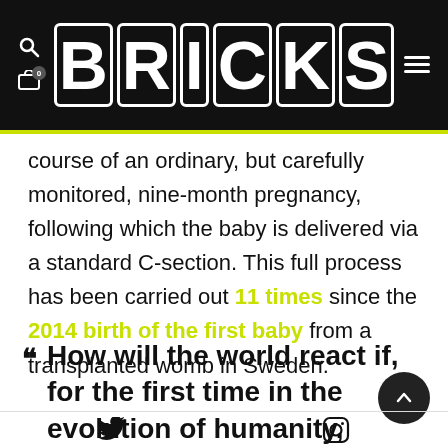BRICKS
course of an ordinary, but carefully monitored, nine-month pregnancy, following which the baby is delivered via a standard C-section. This full process has been carried out 11 times since the 2014 birth of the first baby from a transplanted womb in Sweden.
How will the world react if, for the first time in the evolution of humanity, someone who was